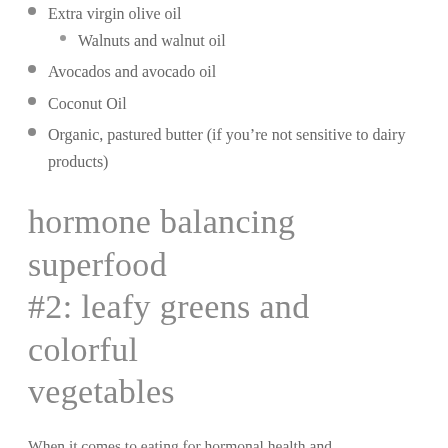Extra virgin olive oil
Walnuts and walnut oil
Avocados and avocado oil
Coconut Oil
Organic, pastured butter (if you're not sensitive to dairy products)
hormone balancing superfood #2: leafy greens and colorful vegetables
When it comes to eating for hormonal health and detoxification, colorful vegetables are one of your greatest allies.
The research that has been done...